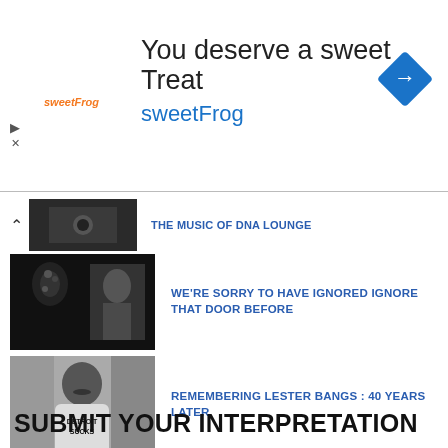[Figure (screenshot): SweetFrog advertisement banner: logo, 'You deserve a sweet Treat', 'sweetFrog' text in blue, blue navigation arrow icon on right]
THE MUSIC OF DNA LOUNGE
[Figure (photo): Black and white collage image with chandelier and decorative elements]
WE'RE SORRY TO HAVE IGNORED IGNORE THAT DOOR BEFORE
[Figure (photo): Black and white photo of a man with mustache wearing a Detroit Sucks t-shirt]
REMEMBERING LESTER BANGS : 40 YEARS LATER
SUBMIT YOUR INTERPRETATION